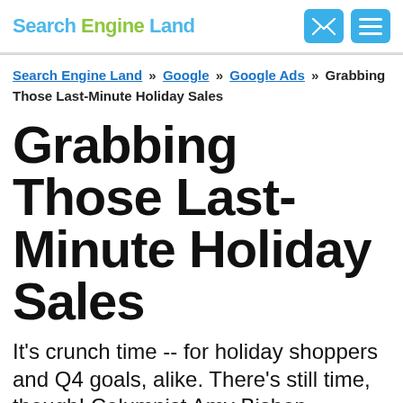Search Engine Land
Search Engine Land » Google » Google Ads » Grabbing Those Last-Minute Holiday Sales
Grabbing Those Last-Minute Holiday Sales
It's crunch time -- for holiday shoppers and Q4 goals, alike. There's still time, though! Columnist Amy Bishop explains how you can guide those last-minute shoppers to